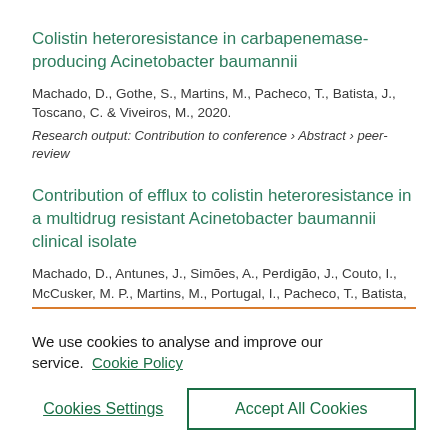Colistin heteroresistance in carbapenemase-producing Acinetobacter baumannii
Machado, D., Gothe, S., Martins, M., Pacheco, T., Batista, J., Toscano, C. & Viveiros, M., 2020.
Research output: Contribution to conference › Abstract › peer-review
Contribution of efflux to colistin heteroresistance in a multidrug resistant Acinetobacter baumannii clinical isolate
Machado, D., Antunes, J., Simões, A., Perdigão, J., Couto, I., McCusker, M. P., Martins, M., Portugal, I., Pacheco, T., Batista,
We use cookies to analyse and improve our service.  Cookie Policy
Cookies Settings
Accept All Cookies